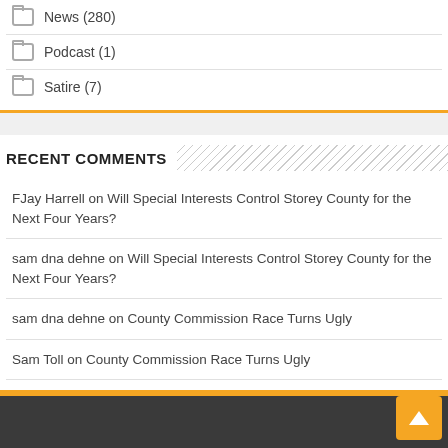News (280)
Podcast (1)
Satire (7)
RECENT COMMENTS
FJay Harrell on Will Special Interests Control Storey County for the Next Four Years?
sam dna dehne on Will Special Interests Control Storey County for the Next Four Years?
sam dna dehne on County Commission Race Turns Ugly
Sam Toll on County Commission Race Turns Ugly
Stephen Bloyd on County Commission Race Turns Ugly